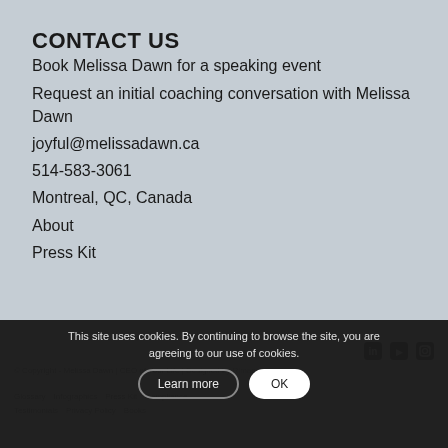CONTACT US
Book Melissa Dawn for a speaking event
Request an initial coaching conversation with Melissa Dawn
joyful@melissadawn.ca
514-583-3061
Montreal, QC, Canada
About
Press Kit
This site uses cookies. By continuing to browse the site, you are agreeing to our use of cookies.
© Copyright - Melissa Dawn | CEO of Your Life | Designed by Riman Agency
Glossary  Infographics  Press Kit  Compliance
Testimonials  Privacy Policy  Books